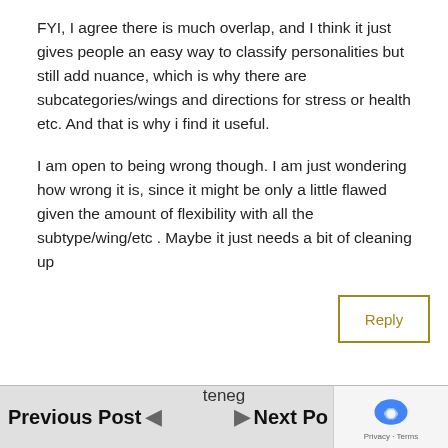FYI, I agree there is much overlap, and I think it just gives people an easy way to classify personalities but still add nuance, which is why there are subcategories/wings and directions for stress or health etc. And that is why i find it useful.

I am open to being wrong though. I am just wondering how wrong it is, since it might be only a little flawed given the amount of flexibility with all the subtype/wing/etc . Maybe it just needs a bit of cleaning up
Previous Post   teneg   Next Po...